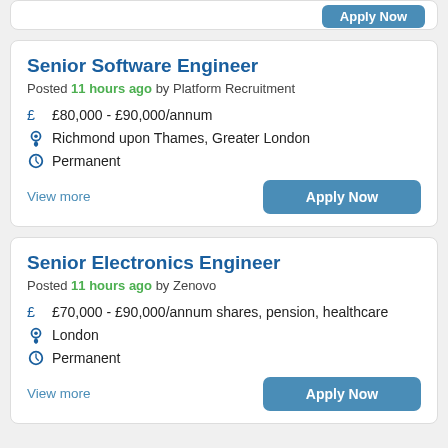[Figure (screenshot): Partial job card at top with Apply Now button visible]
Senior Software Engineer
Posted 11 hours ago by Platform Recruitment
£80,000 - £90,000/annum
Richmond upon Thames, Greater London
Permanent
View more
Apply Now
Senior Electronics Engineer
Posted 11 hours ago by Zenovo
£70,000 - £90,000/annum shares, pension, healthcare
London
Permanent
View more
Apply Now